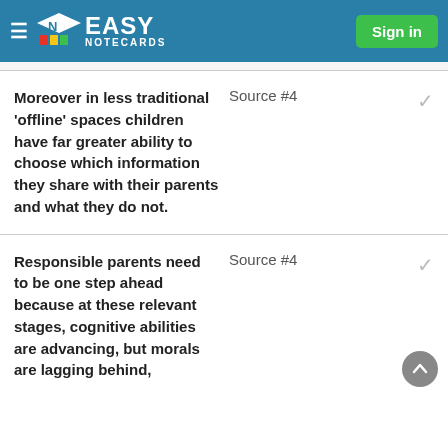EASY NOTECARDS — Sign in
Moreover in less traditional 'offline' spaces children have far greater ability to choose which information they share with their parents and what they do not.
Source #4
Responsible parents need to be one step ahead because at these relevant stages, cognitive abilities are advancing, but morals are lagging behind,
Source #4